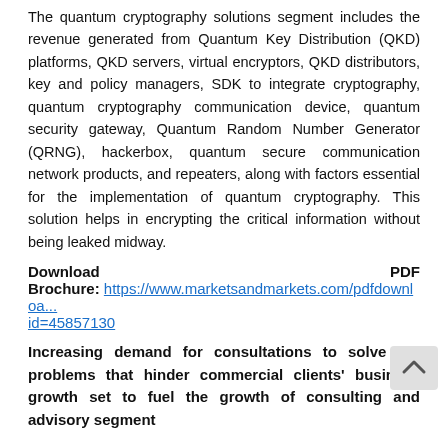The quantum cryptography solutions segment includes the revenue generated from Quantum Key Distribution (QKD) platforms, QKD servers, virtual encryptors, QKD distributors, key and policy managers, SDK to integrate cryptography, quantum cryptography communication device, quantum security gateway, Quantum Random Number Generator (QRNG), hackerbox, quantum secure communication network products, and repeaters, along with factors essential for the implementation of quantum cryptography. This solution helps in encrypting the critical information without being leaked midway.
Download PDF Brochure: https://www.marketsandmarkets.com/pdfdownload...id=45857130
Increasing demand for consultations to solve the problems that hinder commercial clients' business growth set to fuel the growth of consulting and advisory segment